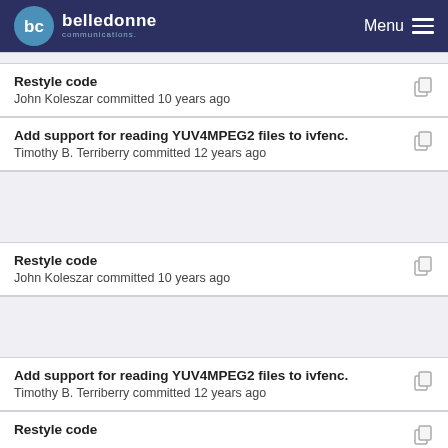belledonne communications — Menu
Restyle code
John Koleszar committed 10 years ago
Add support for reading YUV4MPEG2 files to ivfenc.
Timothy B. Terriberry committed 12 years ago
Restyle code
John Koleszar committed 10 years ago
Add support for reading YUV4MPEG2 files to ivfenc.
Timothy B. Terriberry committed 12 years ago
Restyle code